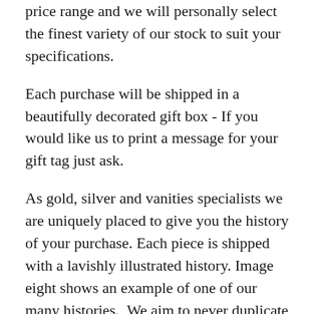price range and we will personally select the finest variety of our stock to suit your specifications.
Each purchase will be shipped in a beautifully decorated gift box - If you would like us to print a message for your gift tag just ask.
As gold, silver and vanities specialists we are uniquely placed to give you the history of your purchase. Each piece is shipped with a lavishly illustrated history. Image eight shows an example of one of our many histories.  We aim to never duplicate information and so collectors purchasing more items from the same maker will receive another history for that maker with each purchase. This will enable them to build up a library of information about their favourite makers.